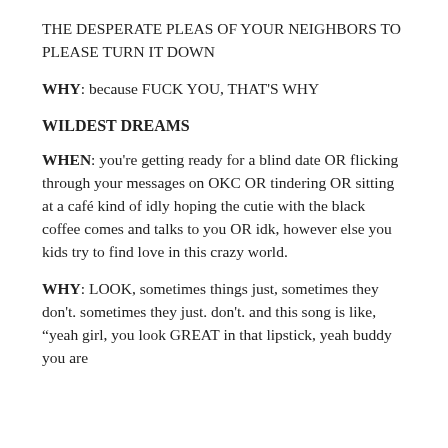THE DESPERATE PLEAS OF YOUR NEIGHBORS TO PLEASE TURN IT DOWN
WHY: because FUCK YOU, THAT'S WHY
WILDEST DREAMS
WHEN: you're getting ready for a blind date OR flicking through your messages on OKC OR tindering OR sitting at a café kind of idly hoping the cutie with the black coffee comes and talks to you OR idk, however else you kids try to find love in this crazy world.
WHY: LOOK, sometimes things just, sometimes they don't. sometimes they just. don't. and this song is like, "yeah girl, you look GREAT in that lipstick, yeah buddy you are